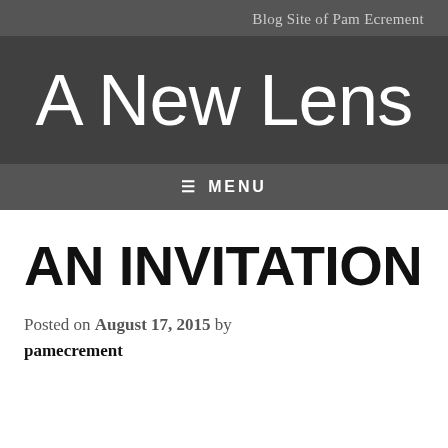Blog Site of Pam Ecrement
A New Lens
≡ MENU
AN INVITATION
Posted on August 17, 2015 by pamecrement